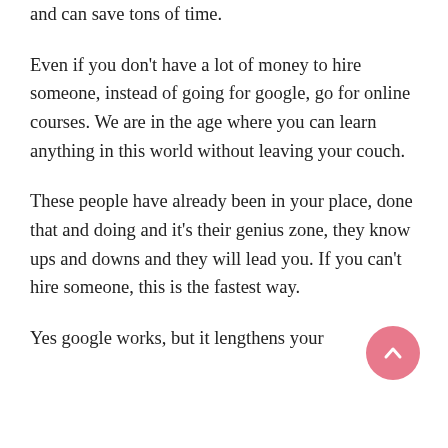and can save tons of time.
Even if you don't have a lot of money to hire someone, instead of going for google, go for online courses. We are in the age where you can learn anything in this world without leaving your couch.
These people have already been in your place, done that and doing and it's their genius zone, they know ups and downs and they will lead you. If you can't hire someone, this is the fastest way.
Yes google works, but it lengthens your